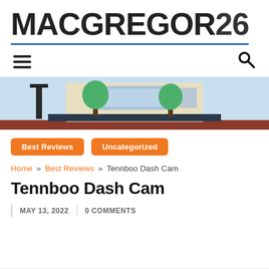MACGREGOR26
[Figure (illustration): Illustration of a building exterior with trees and a sign/billboard, light blue sky background]
Best Reviews
Uncategorized
Home » Best Reviews » Tennboo Dash Cam
Tennboo Dash Cam
MAY 13, 2022 | 0 COMMENTS